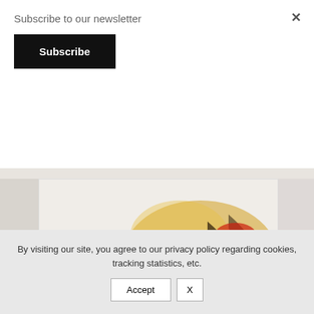Subscribe to our newsletter
Subscribe
[Figure (illustration): Illustration of a doctor in a white coat examining or greeting a person carrying a backpack, with an abstract warm-colored background.]
A guided journey for learning about Whole Person Healthcare.
By visiting our site, you agree to our privacy policy regarding cookies, tracking statistics, etc.
Accept  X